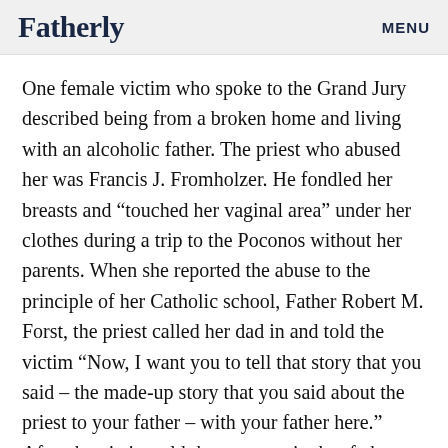Fatherly   MENU
One female victim who spoke to the Grand Jury described being from a broken home and living with an alcoholic father. The priest who abused her was Francis J. Fromholzer. He fondled her breasts and “touched her vaginal area” under her clothes during a trip to the Poconos without her parents. When she reported the abuse to the principle of her Catholic school, Father Robert M. Forst, the priest called her dad in and told the victim “Now, I want you to tell that story that you said – the made-up story that you said about the priest to your father – with your father here.” After the victim told the story again, her father literally dragged her home and beat her with the